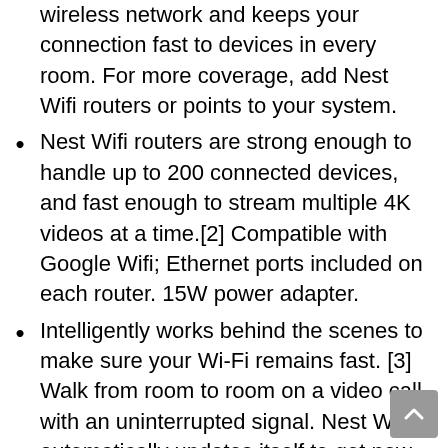wireless network and keeps your connection fast to devices in every room. For more coverage, add Nest Wifi routers or points to your system.
Nest Wifi routers are strong enough to handle up to 200 connected devices, and fast enough to stream multiple 4K videos at a time.[2] Compatible with Google Wifi; Ethernet ports included on each router. 15W power adapter.
Intelligently works behind the scenes to make sure your Wi-Fi remains fast. [3] Walk from room to room on a video call with an uninterrupted signal. Nest Wifi automatically updates itself to get new features and help your network stay safe and sound.